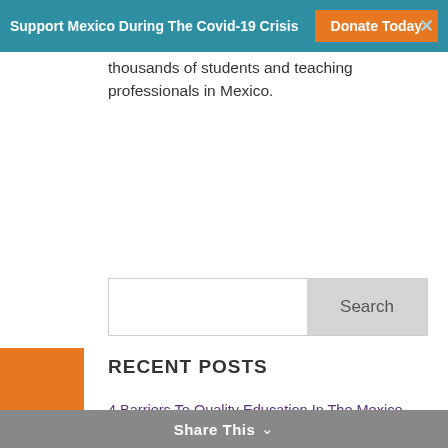Support Mexico During The Covid-19 Crisis  Donate Today
thousands of students and teaching professionals in Mexico.
[Figure (screenshot): Search bar with Search button]
RECENT POSTS
4 Barriers To Quality Education In The Mexico School System
Protecting San Ignacio Lagoon Whales
How To Help Mexican Migrants
The International Community Foundation Announces Marisa Aurora Quiroz as President and Chief Executive Officer.
Share This